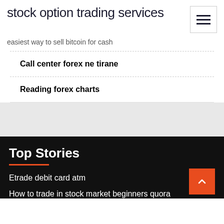stock option trading services
easiest way to sell bitcoin for cash
Call center forex ne tirane
Reading forex charts
Top Stories
Etrade debit card atm
How to trade in stock market beginners quora